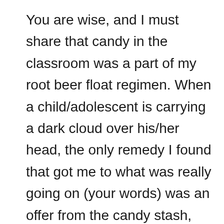You are wise, and I must share that candy in the classroom was a part of my root beer float regimen. When a child/adolescent is carrying a dark cloud over his/her head, the only remedy I found that got me to what was really going on (your words) was an offer from the candy stash, and usually a walk around the school. I may not have discovered everything, but I know that it helped defuse, helped calm breathing, prevented embarrassment in front of friends. Thanks, Elisabeth, and one more connection: my husband adored root